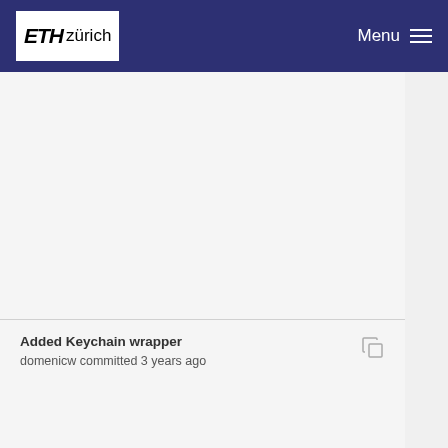ETH zürich — Menu
Added Keychain wrapper
domenicw committed 3 years ago
Added Network layer
domenicw committed 3 years ago